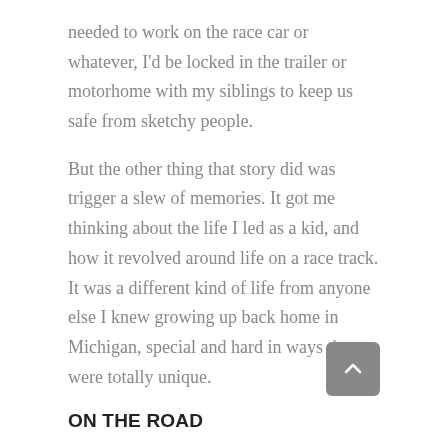needed to work on the race car or whatever, I'd be locked in the trailer or motorhome with my siblings to keep us safe from sketchy people.
But the other thing that story did was trigger a slew of memories. It got me thinking about the life I led as a kid, and how it revolved around life on a race track. It was a different kind of life from anyone else I knew growing up back home in Michigan, special and hard in ways that were totally unique.
ON THE ROAD
When I was a kid, my family's life revolved around